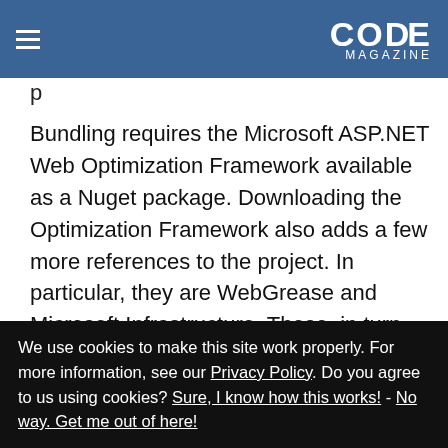CODE Magazine
Bundling requires the Microsoft ASP.NET Web Optimization Framework available as a Nuget package. Downloading the Optimization Framework also adds a few more references to the project. In particular, they are WebGrease and Microsoft Infrastructure. These, in turn, bring their own dependencies for the final graph, shown in Figure 4.
Microsoft ASP.NET Web Optimization
We use cookies to make this site work properly. For more information, see our Privacy Policy. Do you agree to us using cookies? Sure, I know how this works! - No way. Get me out of here!